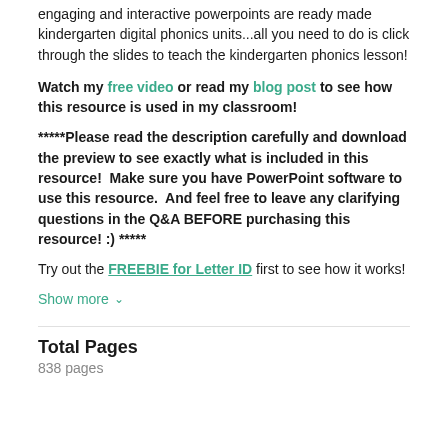engaging and interactive powerpoints are ready made kindergarten digital phonics units...all you need to do is click through the slides to teach the kindergarten phonics lesson!
Watch my free video or read my blog post to see how this resource is used in my classroom!
*****Please read the description carefully and download the preview to see exactly what is included in this resource!  Make sure you have PowerPoint software to use this resource.  And feel free to leave any clarifying questions in the Q&A BEFORE purchasing this resource! :) *****
Try out the FREEBIE for Letter ID first to see how it works!
Show more
Total Pages
838 pages